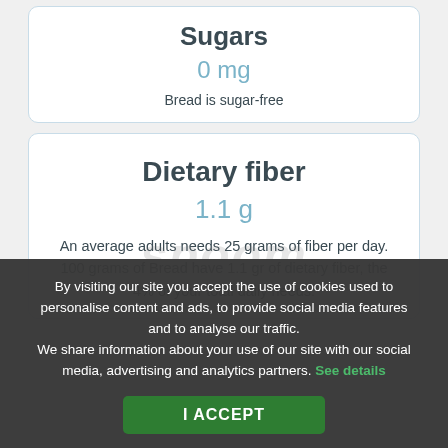Sugars
0 mg
Bread is sugar-free
Dietary fiber
1.1 g
An average adults needs 25 grams of fiber per day. 100 grams of Bread have 1.1 gr of dietary fiber, the 4% of your total daily needs.
By visiting our site you accept the use of cookies used to personalise content and ads, to provide social media features and to analyse our traffic. We share information about your use of our site with our social media, advertising and analytics partners. See details
I ACCEPT